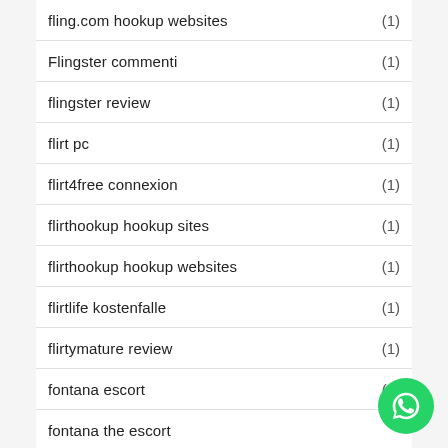fling.com hookup websites (1)
Flingster commenti (1)
flingster review (1)
flirt pc (1)
flirt4free connexion (1)
flirthookup hookup sites (1)
flirthookup hookup websites (1)
flirtlife kostenfalle (1)
flirtymature review (1)
fontana escort (1)
fontana the escort
frauenwahl dating bewertung (1)